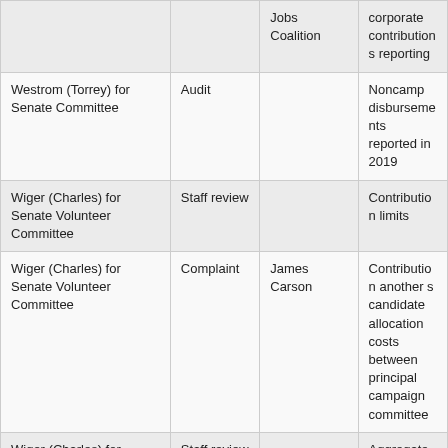| Committee | Type | Complainant | Issue |
| --- | --- | --- | --- |
| Jobs Coalition |  |  | corporate contributions reporting |
| Westrom (Torrey) for Senate Committee | Audit |  | Noncamp disbursements reported in 2019 |
| Wiger (Charles) for Senate Volunteer Committee | Staff review |  | Contribution limits |
| Wiger (Charles) for Senate Volunteer Committee | Complaint | James Carson | Contribution another s candidate allocation costs between principal campaign committee |
| Wiger (Charles) for Senate Volunteer Committee | Staff review |  | Aggregate special so limit |
| Wilkin County RPM | Complaint | Mackenzie Taylor | Approved expenditures reporting; |